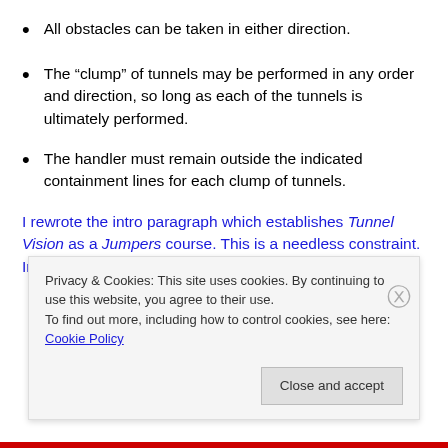All obstacles can be taken in either direction.
The “clump” of tunnels may be performed in any order and direction, so long as each of the tunnels is ultimately performed.
The handler must remain outside the indicated containment lines for each clump of tunnels.
I rewrote the intro paragraph which establishes Tunnel Vision as a Jumpers course. This is a needless constraint. In the bullet list I took out the observation that things will
Privacy & Cookies: This site uses cookies. By continuing to use this website, you agree to their use.
To find out more, including how to control cookies, see here: Cookie Policy
Close and accept